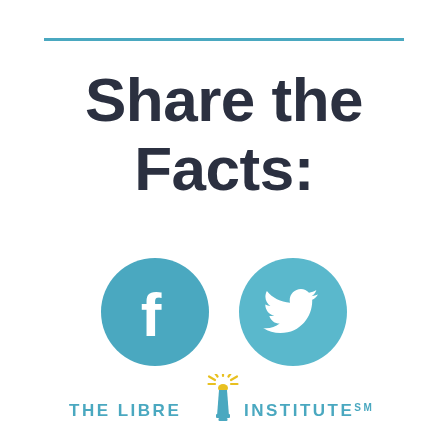Share the Facts:
[Figure (logo): Facebook circle icon (teal/steel blue background with white 'f' logo) and Twitter circle icon (teal/steel blue background with white bird logo)]
[Figure (logo): The Libre Institute logo — torch icon with sunburst above, text reads 'THE LIBRE INSTITUTE℠' in teal]